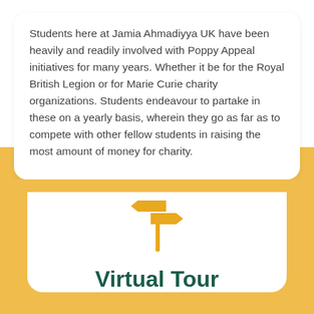Students here at Jamia Ahmadiyya UK have been heavily and readily involved with Poppy Appeal initiatives for many years. Whether it be for the Royal British Legion or for Marie Curie charity organizations. Students endeavour to partake in these on a yearly basis, wherein they go as far as to compete with other fellow students in raising the most amount of money for charity.
[Figure (illustration): A yellow signpost icon with two directional arrows pointing left and right, on a vertical post]
Virtual Tour